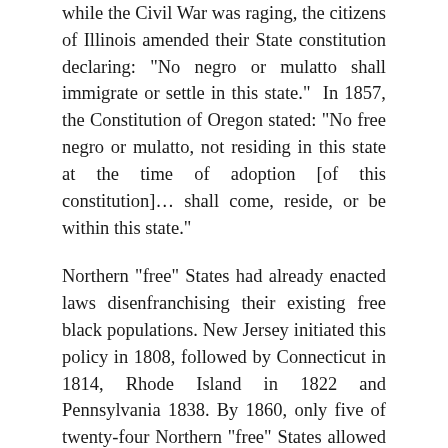while the Civil War was raging, the citizens of Illinois amended their State constitution declaring: "No negro or mulatto shall immigrate or settle in this state."  In 1857, the Constitution of Oregon stated: "No free negro or mulatto, not residing in this state at the time of adoption [of this constitution]… shall come, reside, or be within this state."
Northern "free" States had already enacted laws disenfranchising their existing free black populations. New Jersey initiated this policy in 1808, followed by Connecticut in 1814, Rhode Island in 1822 and Pennsylvania 1838. By 1860, only five of twenty-four Northern "free" States allowed free blacks to vote. Immediately after the Civil War, laws to enfranchise blacks were rejected by eight of those Northern States.
Then there was the lucrative Northern business of kidnapping free blacks living in Northern "free" States and selling them into slavery. New York was a major